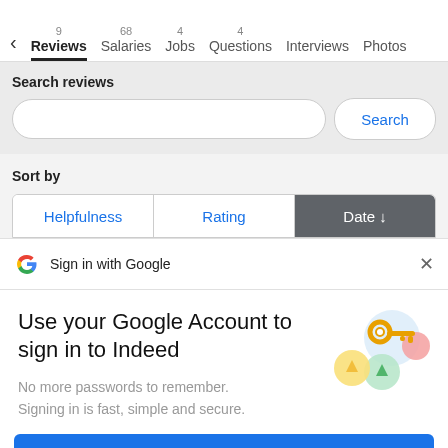< Reviews 9 | Salaries 68 | Jobs 4 | Questions 4 | Interviews | Photos
Search reviews
Search
Sort by
Helpfulness | Rating | Date ↓
Sign in with Google
Use your Google Account to sign in to Indeed
No more passwords to remember.
Signing in is fast, simple and secure.
[Figure (illustration): Google sign-in key illustration with colorful circles]
Continue